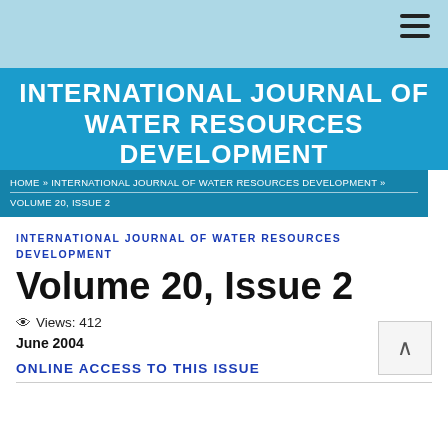INTERNATIONAL JOURNAL OF WATER RESOURCES DEVELOPMENT
HOME » INTERNATIONAL JOURNAL OF WATER RESOURCES DEVELOPMENT » VOLUME 20, ISSUE 2
INTERNATIONAL JOURNAL OF WATER RESOURCES DEVELOPMENT
Volume 20, Issue 2
Views: 412
June 2004
ONLINE ACCESS TO THIS ISSUE